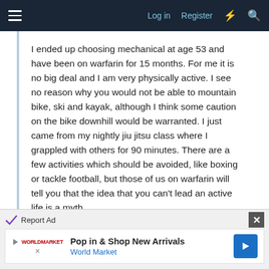≡   Log in   Register  ⚡  🔍
I ended up choosing mechanical at age 53 and have been on warfarin for 15 months. For me it is no big deal and I am very physically active. I see no reason why you would not be able to mountain bike, ski and kayak, although I think some caution on the bike downhill would be warranted. I just came from my nightly jiu jitsu class where I grappled with others for 90 minutes. There are a few activities which should be avoided, like boxing or tackle football, but those of us on warfarin will tell you that the idea that you can't lead an active life is a myth.
You have some big choices ahead of you. Personally, I would probably opt to get the valve replaced while they are in there with the hood open. And I would consider a
[Figure (screenshot): Advertisement banner: 'Pop in & Shop New Arrivals, World Market' with play button icon, World Market logo, and blue navigation arrow icon. Report Ad label with close X button.]